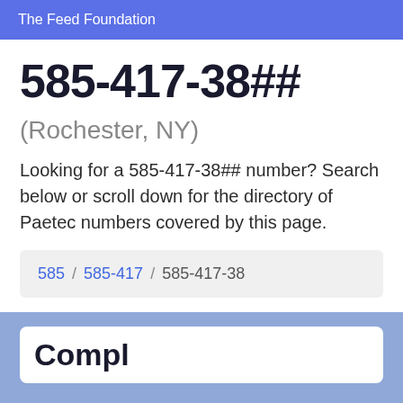The Feed Foundation
585-417-38##
(Rochester, NY)
Looking for a 585-417-38## number? Search below or scroll down for the directory of Paetec numbers covered by this page.
585 / 585-417 / 585-417-38